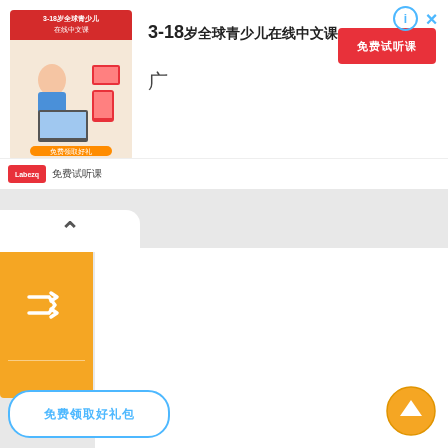[Figure (screenshot): Advertisement banner for online Chinese learning platform for ages 3-18, showing a girl at computer with brand logo, title text, subtitle, and a red CTA button]
3-18岁全球青少儿在线中文课
广
[Figure (screenshot): Orange sidebar navigation with shuffle/up/down/right arrow icons and a collapse tab]
免费领取好礼
[Figure (logo): Scroll-to-top circular orange button with up arrow]